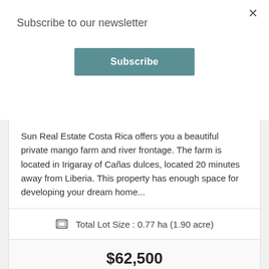Subscribe to our newsletter
Subscribe
Sun Real Estate Costa Rica offers you a beautiful private mango farm and river frontage. The farm is located in Irigaray of Cañas dulces, located 20 minutes away from Liberia. This property has enough space for developing your dream home...
Total Lot Size : 0.77 ha (1.90 acre)
$62,500
[Figure (photo): Aerial or ground-level view of a tropical farm with trees and greenery]